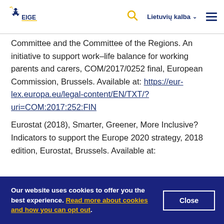EIGE logo | Search | Lietuvių kalba | Menu
Committee and the Committee of the Regions. An initiative to support work–life balance for working parents and carers, COM/2017/0252 final, European Commission, Brussels. Available at: https://eur-lex.europa.eu/legal-content/EN/TXT/?uri=COM:2017:252:FIN
Eurostat (2018), Smarter, Greener, More Inclusive? Indicators to support the Europe 2020 strategy, 2018 edition, Eurostat, Brussels. Available at:
Our website uses cookies to offer you the best experience. Read more about cookies and how you can opt out.